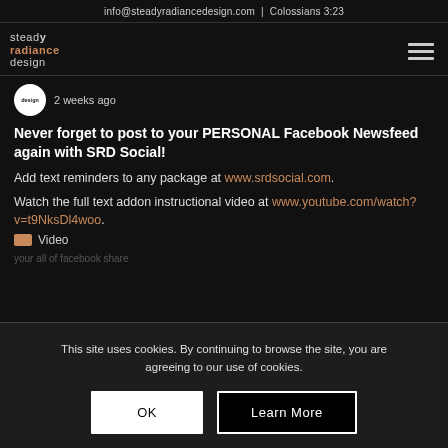info@steadyradiancedesign.com  |  Colossians 3:23
[Figure (logo): Steady Radiance Design logo with stacked text in white and orange]
2 weeks ago
Never forget to post to your PERSONAL Facebook Newsfeed again with SRD Social!
Add text reminders to any package at www.srdsocial.com.
Watch the full text addon instructional video at www.youtube.com/watch?v=t9NksDl4woo.
Video
This site uses cookies. By continuing to browse the site, you are agreeing to our use of cookies.